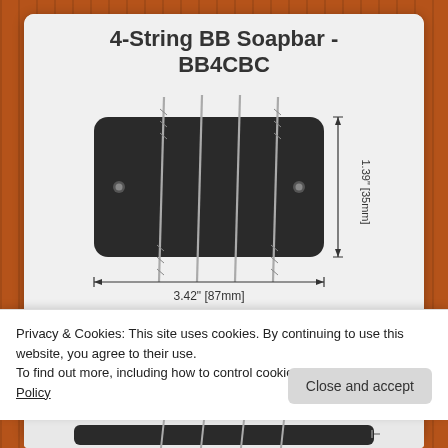4-String BB Soapbar - BB4CBC
[Figure (engineering-diagram): Technical diagram of a 4-string bass guitar soapbar pickup (BB4CBC) shown from above. The pickup is a dark rectangular unit with rounded corners, two mounting screw holes on each side, and four strings running vertically across it. Dimension lines show: width 3.42" [87mm] and height 1.39" [35mm].]
$160.00
Details
Made to Order - Long Lead-time
Privacy & Cookies: This site uses cookies. By continuing to use this website, you agree to their use.
To find out more, including how to control cookies, see here: Cookie Policy
Close and accept